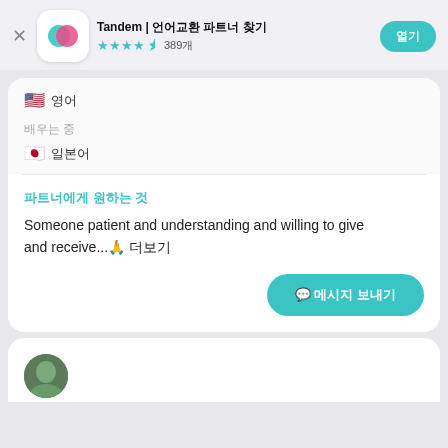Tandem | 언어 교환 파트너 찾기
★★★★½ 389개
열기
🇺🇸 영어
배우는 중
🇯🇵 일본어
파트너에게 원하는 것
Someone patient and understanding and willing to give and receive...🙏 더보기
💬 메시지 보내기